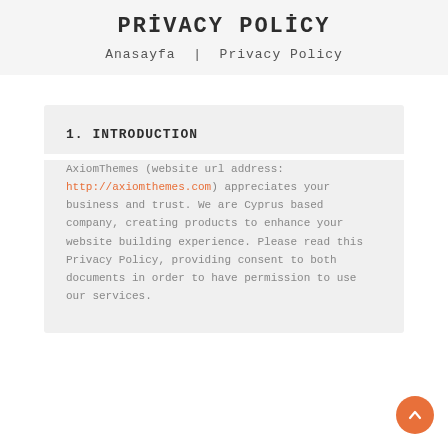PRIVACY POLICY
Anasayfa  |  Privacy Policy
1. INTRODUCTION
AxiomThemes (website url address: http://axiomthemes.com) appreciates your business and trust. We are Cyprus based company, creating products to enhance your website building experience. Please read this Privacy Policy, providing consent to both documents in order to have permission to use our services.